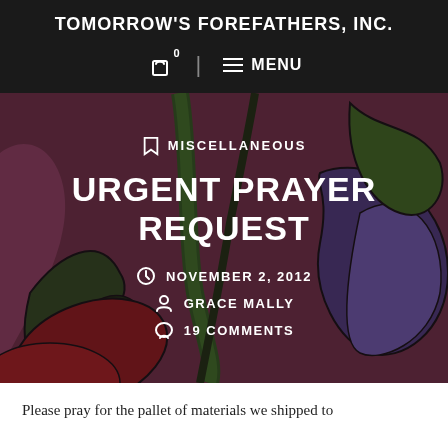TOMORROW'S FOREFATHERS, INC.
URGENT PRAYER REQUEST
MISCELLANEOUS
NOVEMBER 2, 2012
GRACE MALLY
19 COMMENTS
Please pray for the pallet of materials we shipped to